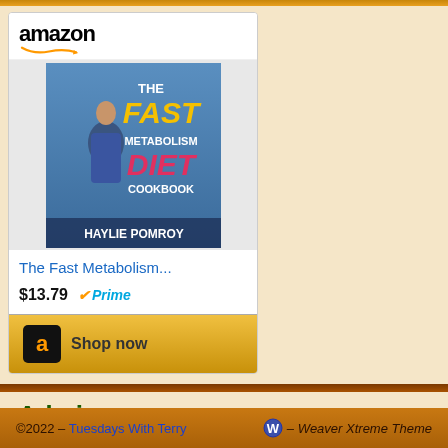[Figure (other): Amazon product widget showing 'The Fast Metabolism...' book priced at $13.79 with Prime badge and Shop now button]
Admin
Log in
Entries feed
Comments feed
WordPress.org
©2022 - Tuesdays With Terry - Weaver Xtreme Theme